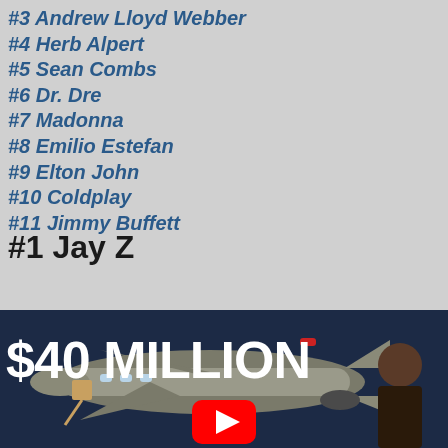#3 Andrew Lloyd Webber
#4 Herb Alpert
#5 Sean Combs
#6 Dr. Dre
#7 Madonna
#8 Emilio Estefan
#9 Elton John
#10 Coldplay
#11 Jimmy Buffett
#1 Jay Z
[Figure (screenshot): YouTube video thumbnail showing '$40 MILLION' text in large white bold letters over a dark navy background with a private jet image and a person visible on the right side. A YouTube play button icon appears at the bottom center.]